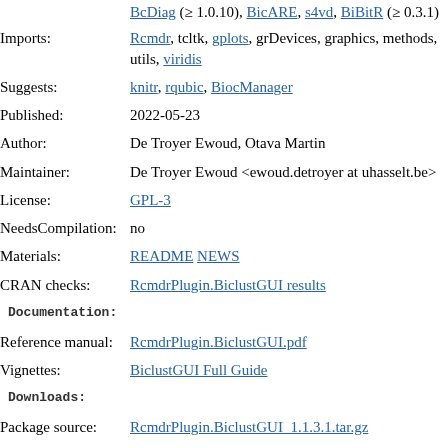BcDiag (≥ 1.0.10), BicARE, s4vd, BiBitR (≥ 0.3.1)
Imports: Rcmdr, tcltk, gplots, grDevices, graphics, methods, utils, viridis
Suggests: knitr, rqubic, BiocManager
Published: 2022-05-23
Author: De Troyer Ewoud, Otava Martin
Maintainer: De Troyer Ewoud <ewoud.detroyer at uhasselt.be>
License: GPL-3
NeedsCompilation: no
Materials: README NEWS
CRAN checks: RcmdrPlugin.BiclustGUI results
Documentation:
Reference manual: RcmdrPlugin.BiclustGUI.pdf
Vignettes: BiclustGUI Full Guide
Downloads:
Package source: RcmdrPlugin.BiclustGUI_1.1.3.1.tar.gz